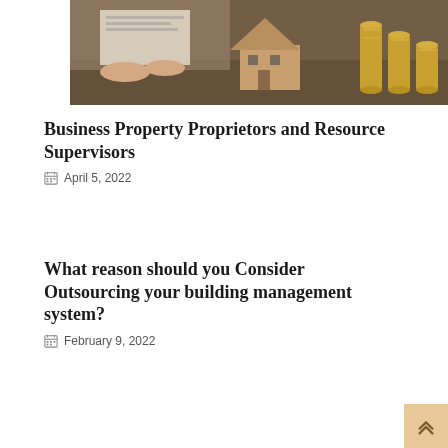[Figure (photo): Photo of a cardboard house model with stacks of coins on a wooden table surface, with hands visible in the background holding a document]
Business Property Proprietors and Resource Supervisors
April 5, 2022
What reason should you Consider Outsourcing your building management system?
February 9, 2022